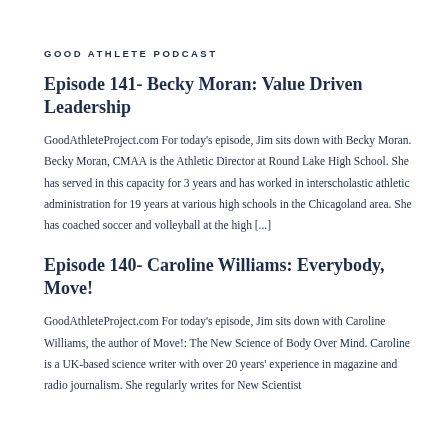GOOD ATHLETE PODCAST
Episode 141- Becky Moran: Value Driven Leadership
GoodAthleteProject.com For today’s episode, Jim sits down with Becky Moran. Becky Moran, CMAA is the Athletic Director at Round Lake High School. She has served in this capacity for 3 years and has worked in interscholastic athletic administration for 19 years at various high schools in the Chicagoland area. She has coached soccer and volleyball at the high [...]
Episode 140- Caroline Williams: Everybody, Move!
GoodAthleteProject.com For today’s episode, Jim sits down with Caroline Williams, the author of Move!: The New Science of Body Over Mind. Caroline is a UK-based science writer with over 20 years’ experience in magazine and radio journalism. She regularly writes for New Scientist